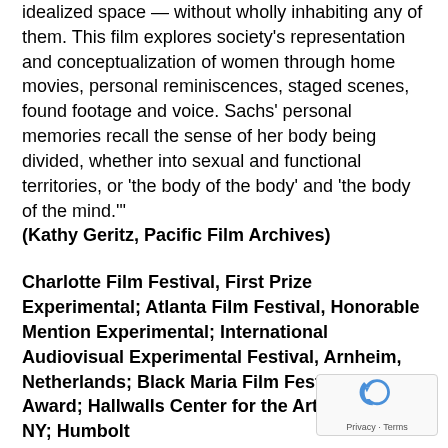idealized space — without wholly inhabiting any of them.  This film explores society's representation and conceptualization of women through home movies, personal reminiscences, staged scenes, found footage and voice.  Sachs' personal memories recall the sense of her body being divided, whether into sexual and functional territories, or 'the body of the body' and 'the body of the mind.'" (Kathy Geritz, Pacific Film Archives)
Charlotte Film Festival, First Prize Experimental; Atlanta Film Festival, Honorable Mention Experimental; International Audiovisual Experimental Festival,  Arnheim, Netherlands; Black Maria Film Fest, Juror's Award; Hallwalls Center for the Arts, Buffalo, NY; Humbolt